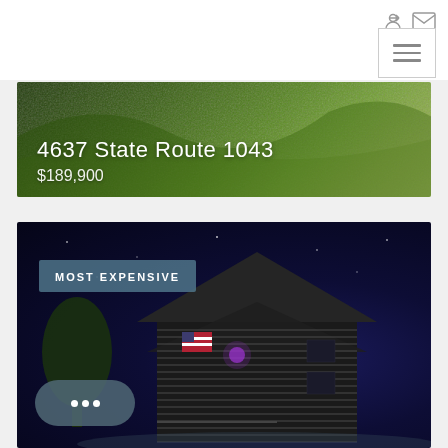Navigation bar with icons and hamburger menu
[Figure (photo): Aerial or ground-level photo of lush green hillside landscape with property listing overlay showing address 4637 State Route 1043 and price $189,900]
4637 State Route 1043
$189,900
[Figure (photo): Night-time photo of a two-story house with illuminated siding, American flag on porch, purple accent light, dark navy sky. Badge labeled MOST EXPENSIVE overlaid on top left.]
MOST EXPENSIVE